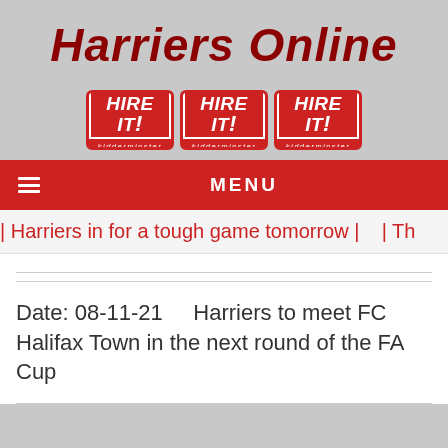Harriers Online
[Figure (logo): Three 'Hire It! Kidderminster' red sponsor badges displayed side by side]
MENU
| Harriers in for a tough game tomorrow |    | Th
Date: 08-11-21      Harriers to meet FC Halifax Town in the next round of the FA Cup